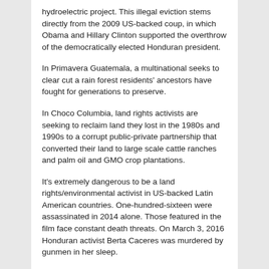hydroelectric project. This illegal eviction stems directly from the 2009 US-backed coup, in which Obama and Hillary Clinton supported the overthrow of the democratically elected Honduran president.
In Primavera Guatemala, a multinational seeks to clear cut a rain forest residents' ancestors have fought for generations to preserve.
In Choco Columbia, land rights activists are seeking to reclaim land they lost in the 1980s and 1990s to a corrupt public-private partnership that converted their land to large scale cattle ranches and palm oil and GMO crop plantations.
It's extremely dangerous to be a land rights/environmental activist in US-backed Latin American countries. One-hundred-sixteen were assassinated in 2014 alone. Those featured in the film face constant death threats. On March 3, 2016 Honduran activist Berta Caceres was murdered by gunmen in her sleep.